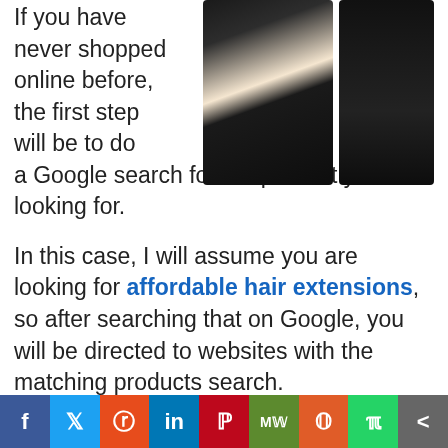[Figure (photo): Two hair extension products shown side by side — a wavy dark hair piece on the left and a straight dark hair piece on the right]
If you have never shopped online before, the first step will be to do a Google search for the product you are looking for.
In this case, I will assume you are looking for affordable hair extensions, so after searching that on Google, you will be directed to websites with the matching products search.
Once you find the right product you want, you will need to visit the site and register as a client. This is a straightforward process and should just take minutes.
[Figure (infographic): Social media sharing bar with buttons: Facebook, Twitter, Reddit, LinkedIn, Pinterest, MeWe, Mix, WhatsApp, Share]